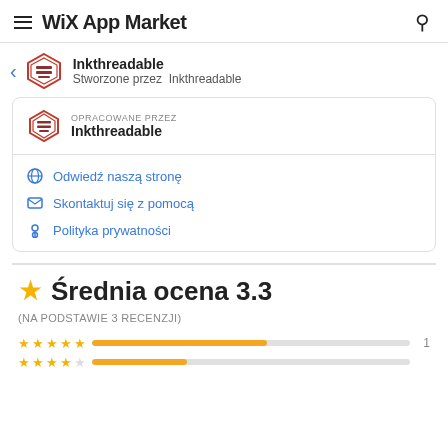WiX App Market
Inkthreadable
Stworzone przez  Inkthreadable
OPRACOWANE PRZEZ
Inkthreadable
Odwiedź naszą stronę
Skontaktuj się z pomocą
Polityka prywatności
Średnia ocena 3.3
(NA PODSTAWIE 3 RECENZJI)
★★★★★  [bar]  1